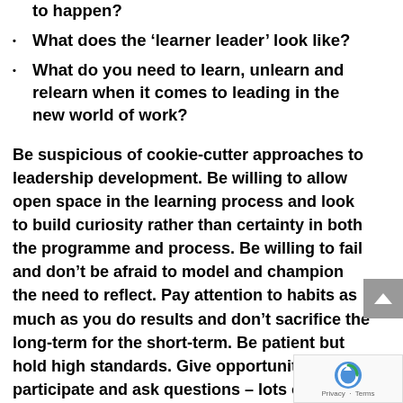to happen?
What does the ‘learner leader’ look like?
What do you need to learn, unlearn and relearn when it comes to leading in the new world of work?
Be suspicious of cookie-cutter approaches to leadership development. Be willing to allow open space in the learning process and look to build curiosity rather than certainty in both the programme and process. Be willing to fail and don’t be afraid to model and champion the need to reflect. Pay attention to habits as much as you do results and don’t sacrifice the long-term for the short-term. Be patient but hold high standards. Give opportunity to participate and ask questions – lots of questions: of others, the organization and most importantly, of yourself. Be a learner and always believe there is a better way. Know the why that underpins the what